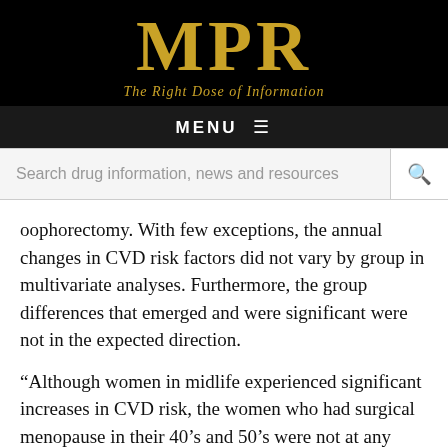MPR — The Right Dose of Information
MENU ≡
Search drug information, news and resources
oophorectomy. With few exceptions, the annual changes in CVD risk factors did not vary by group in multivariate analyses. Furthermore, the group differences that emerged and were significant were not in the expected direction.
“Although women in midlife experienced significant increases in CVD risk, the women who had surgical menopause in their 40’s and 50’s were not at any greater risk for increases in CVD risk factors compared to women who had a natural menopause,” the authors write. “These results